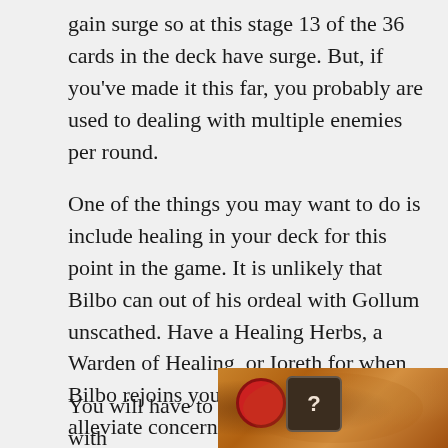gain surge so at this stage 13 of the 36 cards in the deck have surge.  But, if you've made it this far, you probably are used to dealing with multiple enemies per round.
One of the things you may want to do is include healing in your deck for this point in the game.  It is unlikely that Bilbo can out of his ordeal with Gollum unscathed.  Have a Healing Herbs, a Warden of Healing, or Ioreth for when Bilbo rejoins your group can help alleviate concerns that he may get killed and fighting through all those riddles was for nothing.
You will have to deal with
[Figure (photo): Photo of game cards on a warm orange/brown surface background]